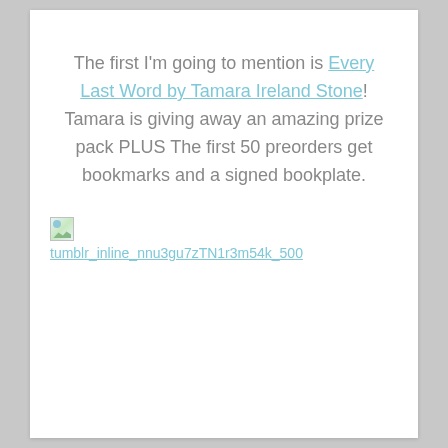The first I'm going to mention is Every Last Word by Tamara Ireland Stone! Tamara is giving away an amazing prize pack PLUS The first 50 preorders get bookmarks and a signed bookplate.
[Figure (other): Broken image placeholder with filename tumblr_inline_nnu3gu7zTN1r3m54k_500 shown as link text below a small broken image icon]